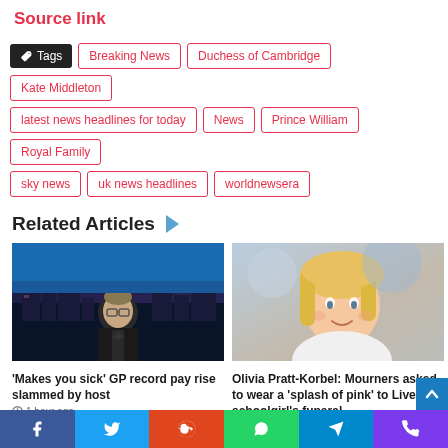Source link
Tags: Breaking News, Duchess of Cambridge, Kate Middleton, latest news headlines for today, News, Prince William, Royal Family, sky news, uk news headlines, worldnewsera
Related Articles
[Figure (photo): Man in suit with glasses against city skyline backdrop]
'Makes you sick' GP record pay rise slammed by host
1 hour ago
[Figure (photo): Young blonde girl smiling outdoors]
Olivia Pratt-Korbel: Mourners asked to wear a 'splash of pink' to Liverpool schoolgirl's funeral
Social share bar: Facebook, Twitter, Reddit, WhatsApp, Telegram, Phone